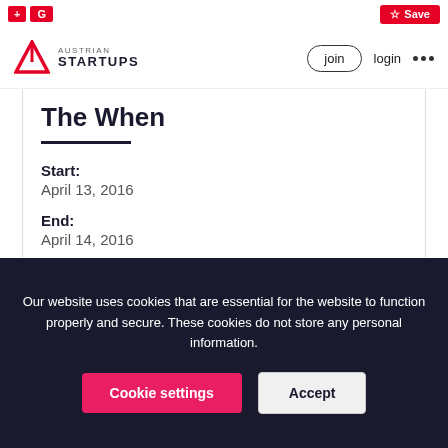+G Save
Austrian Startups | join | login
The When
Start:
April 13, 2016
End:
April 14, 2016
The Where
Our website uses cookies that are essential for the website to function properly and secure. These cookies do not store any personal information.
Cookie settings | Accept